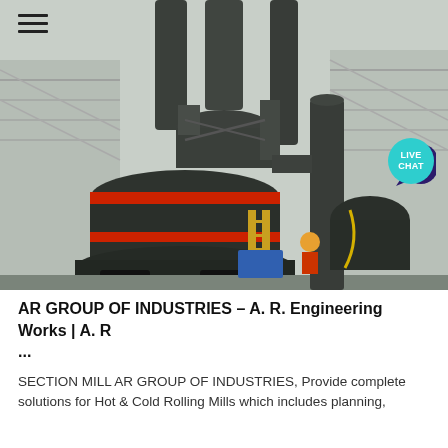[Figure (photo): Industrial grinding mill equipment with large cylindrical body, red accent bands, and multiple large pipes/ducts rising above, installed outdoors at a construction or industrial site. A worker in yellow safety gear is visible near the base.]
AR GROUP OF INDUSTRIES – A. R. Engineering Works | A. R ...
SECTION MILL AR GROUP OF INDUSTRIES, Provide complete solutions for Hot & Cold Rolling Mills which includes planning,